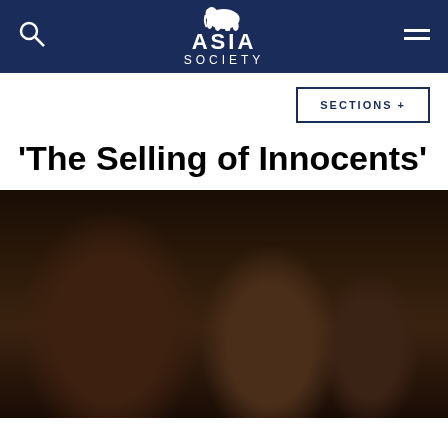ASIA SOCIETY
SECTIONS +
'The Selling of Innocents'
[Figure (photo): Three women in a dimly lit indoor setting. The woman on the left wears a black outfit and has a bindi, earrings, and a necklace. The woman in the center wears a pink satin outfit. A third woman is partially visible in the background on the right.]